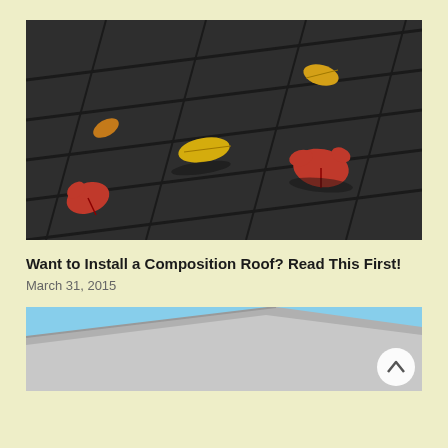[Figure (photo): Close-up photo of gray asphalt roof shingles with autumn leaves (red maple leaves and yellow leaves) resting on the surface, with dramatic shadows.]
Want to Install a Composition Roof? Read This First!
March 31, 2015
[Figure (photo): Partial photo of a roof edge or metal flashing against a blue sky, partially visible at the bottom of the page.]